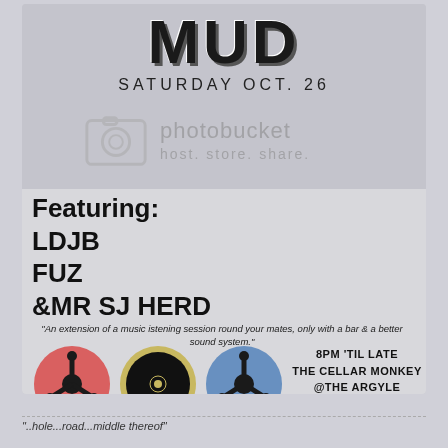MUD
SATURDAY OCT. 26
[Figure (logo): Photobucket watermark logo with camera icon, text 'photobucket' and 'host. store. share.']
Featuring:
LDJB
FUZ
&MR SJ HERD
"An extension of a music istening session round your mates, only with a bar & a better sound system."
[Figure (illustration): Three vinyl record adapter icons: red circle with adapter, black record on gold circle, blue circle with adapter]
8PM 'TIL LATE
THE CELLAR MONKEY
@THE ARGYLE
15 ARGYLE PLACE
"..hole...road...middle thereof"